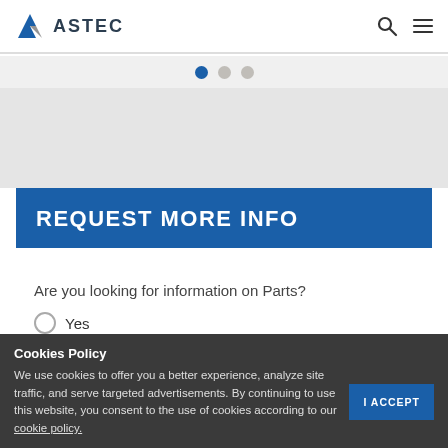ASTEC
[Figure (other): Slider pagination dots — one active blue dot and two inactive gray dots]
REQUEST MORE INFO
Are you looking for information on Parts?
Yes
No
Cookies Policy
We use cookies to offer you a better experience, analyze site traffic, and serve targeted advertisements. By continuing to use this website, you consent to the use of cookies according to our cookie policy.